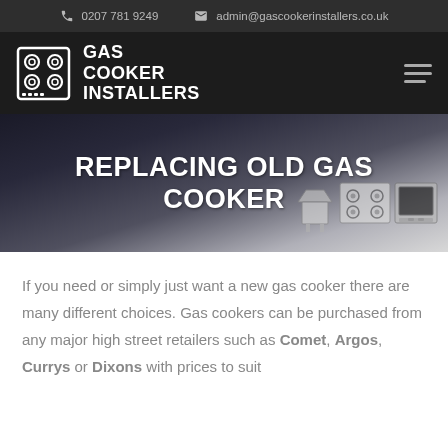0207 781 9249   admin@gascookerinstallers.co.uk
[Figure (logo): Gas Cooker Installers logo with cooker hob icon and bold text GAS COOKER INSTALLERS on dark background]
REPLACING OLD GAS COOKER
If you need or simply just want a new gas cooker there are many different choices. Gas cookers can be purchased from any major high street retailers such as Comet, Argos, Currys or Dixons with prices to suit